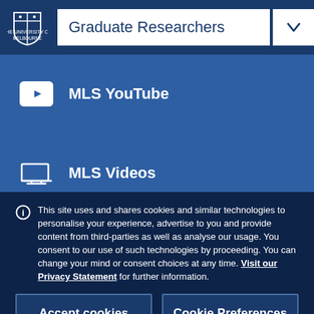Graduate Researchers
MLS YouTube
MLS Videos
This site uses and shares cookies and similar technologies to personalise your experience, advertise to you and provide content from third-parties as well as analyse our usage. You consent to our use of such technologies by proceeding. You can change your mind or consent choices at any time. Visit our Privacy Statement for further information.
Accept cookies
Cookie Preferences